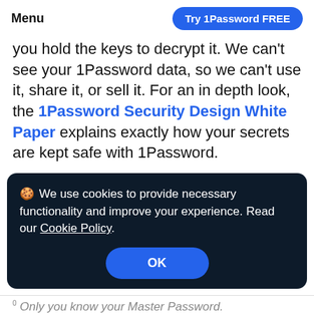Menu | Try 1Password FREE
you hold the keys to decrypt it. We can't see your 1Password data, so we can't use it, share it, or sell it. For an in depth look, the 1Password Security Design White Paper explains exactly how your secrets are kept safe with 1Password.
🍪 We use cookies to provide necessary functionality and improve your experience. Read our Cookie Policy.
OK
⁰ Only you know your Master Password.